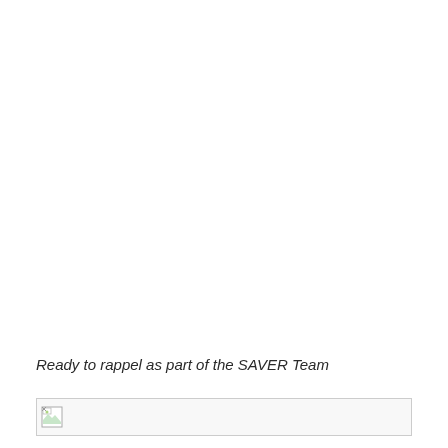Ready to rappel as part of the SAVER Team
[Figure (photo): Broken/missing image placeholder shown at the bottom of the page]